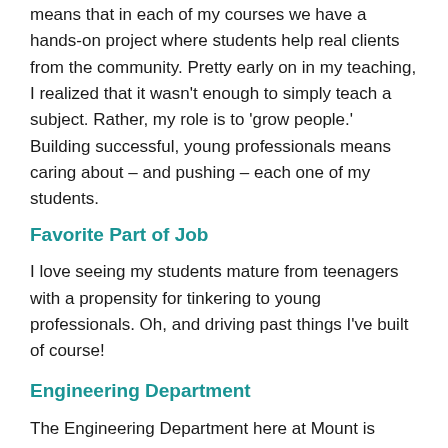means that in each of my courses we have a hands-on project where students help real clients from the community. Pretty early on in my teaching, I realized that it wasn't enough to simply teach a subject. Rather, my role is to 'grow people.' Building successful, young professionals means caring about – and pushing – each one of my students.
Favorite Part of Job
I love seeing my students mature from teenagers with a propensity for tinkering to young professionals. Oh, and driving past things I've built of course!
Engineering Department
The Engineering Department here at Mount is doing so many unique and incredible things these days – it makes me want to be a student myself. For starters, we're focused